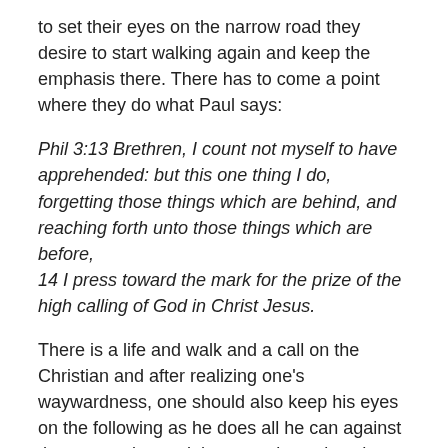to set their eyes on the narrow road they desire to start walking again and keep the emphasis there. There has to come a point where they do what Paul says:
Phil 3:13 Brethren, I count not myself to have apprehended: but this one thing I do, forgetting those things which are behind, and reaching forth unto those things which are before,
14 I press toward the mark for the prize of the high calling of God in Christ Jesus.
There is a life and walk and a call on the Christian and after realizing one’s waywardness, one should also keep his eyes on the following as he does all he can against the oppression and then stands against those evils. Those things are described in Ephesians 6:
Eph 6:10 Finally, my brethren, be strong in the Lord, and